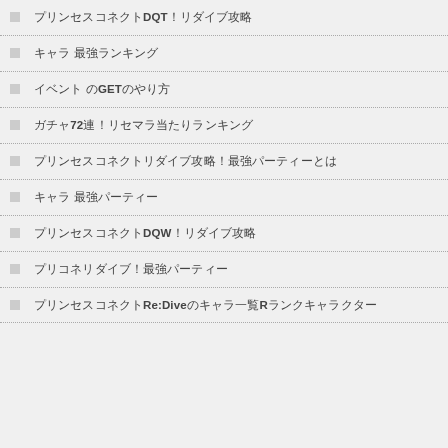プリンセスコネクトDQT！リダイブ攻略
キャラ 最強ランキング
イベント のGETのやり方
ガチャ72連！リセマラ当たりランキング
プリンセスコネクトリダイブ攻略！最強パーティーとは
キャラ 最強パーティー
プリンセスコネクトDQW！リダイブ攻略
プリコネリダイブ！最強パーティー
プリンセスコネクトRe:Diveのキャラ一覧Rランクキャラクター